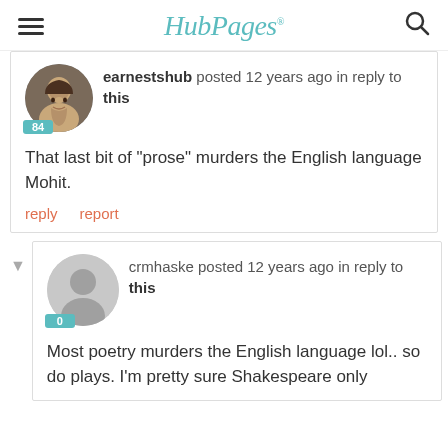HubPages
earnestshub posted 12 years ago in reply to this
That last bit of "prose" murders the English language Mohit.
reply   report
crmhaske posted 12 years ago in reply to this
Most poetry murders the English language lol.. so do plays.  I'm pretty sure Shakespeare only